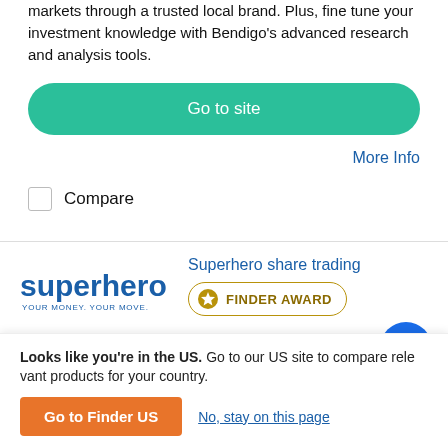markets through a trusted local brand. Plus, fine tune your investment knowledge with Bendigo's advanced research and analysis tools.
Go to site
More Info
Compare
Superhero share trading
[Figure (logo): Superhero logo with tagline YOUR MONEY. YOUR MOVE.]
[Figure (other): Finder Award badge with star icon]
| Standard brokerage fee | Inactivity fee | Markets |
| --- | --- | --- |
| $5 | No | ASX shares, US shares, ETFs |
Looks like you're in the US. Go to our US site to compare relevant products for your country.
Go to Finder US
No, stay on this page